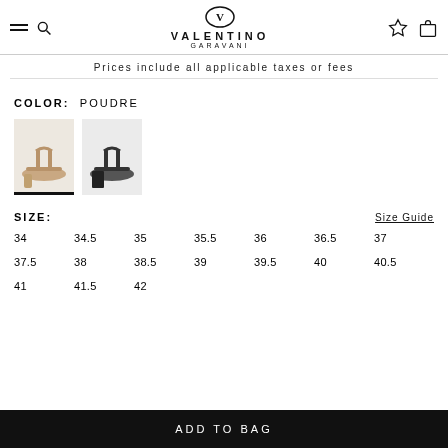Valentino Garavani navigation header
Prices include all applicable taxes or fees
COLOR: POUDRE
[Figure (photo): Two color swatch thumbnails of sandal shoes: first in poudre/nude color selected, second in black]
SIZE:  Size Guide
34  34.5  35  35.5  36  36.5  37  37.5  38  38.5  39  39.5  40  40.5  41  41.5  42
ADD TO BAG